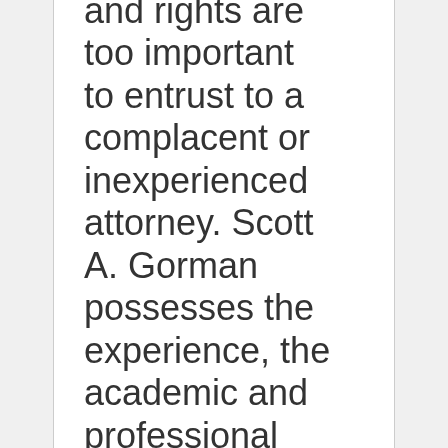and rights are too important to entrust to a complacent or inexperienced attorney. Scott A. Gorman possesses the experience, the academic and professional credentials,